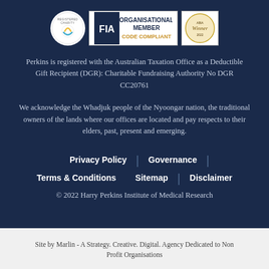[Figure (logo): Three logos: Registered Charity badge, FIA Organisational Member Code Compliant logo, and an award Winner 2022 badge]
Perkins is registered with the Australian Taxation Office as a Deductible Gift Recipient (DGR): Charitable Fundraising Authority No DGR CC20761
We acknowledge the Whadjuk people of the Nyoongar nation, the traditional owners of the lands where our offices are located and pay respects to their elders, past, present and emerging.
Privacy Policy | Governance |
Terms & Conditions   Sitemap | Disclaimer
© 2022 Harry Perkins Institute of Medical Research
Site by Marlin - A Strategy. Creative. Digital. Agency Dedicated to Non Profit Organisations